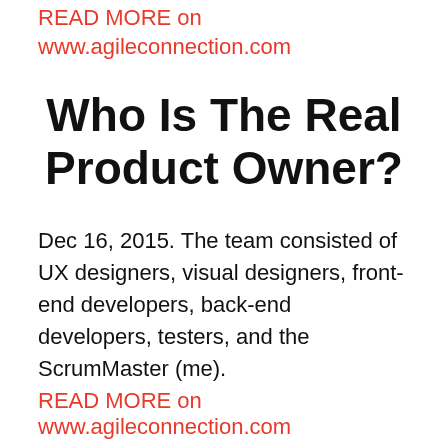READ MORE on www.agileconnection.com
Who Is The Real Product Owner?
Dec 16, 2015. The team consisted of UX designers, visual designers, front-end developers, back-end developers, testers, and the ScrumMaster (me).
READ MORE on www.agileconnection.com